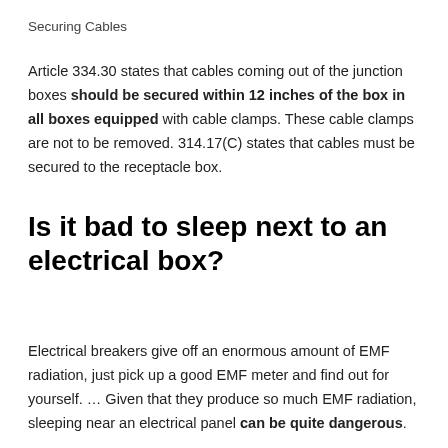Securing Cables
Article 334.30 states that cables coming out of the junction boxes should be secured within 12 inches of the box in all boxes equipped with cable clamps. These cable clamps are not to be removed. 314.17(C) states that cables must be secured to the receptacle box.
Is it bad to sleep next to an electrical box?
Electrical breakers give off an enormous amount of EMF radiation, just pick up a good EMF meter and find out for yourself. … Given that they produce so much EMF radiation, sleeping near an electrical panel can be quite dangerous.